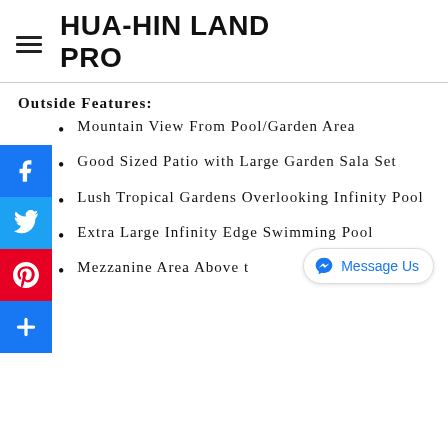HUA-HIN LAND PRO
Outside Features:
Mountain View From Pool/Garden Area
Good Sized Patio with Large Garden Sala Set
Lush Tropical Gardens Overlooking Infinity Pool
Extra Large Infinity Edge Swimming Pool
Mezzanine Area Above the Lounge